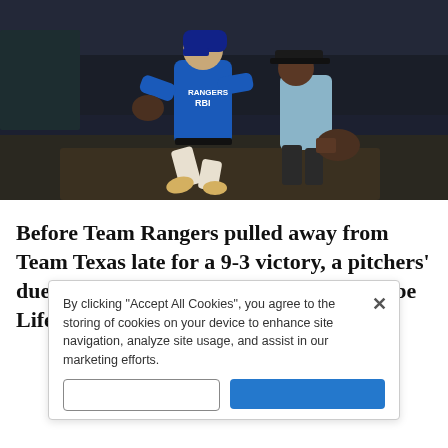[Figure (photo): Baseball player in blue Rangers RBI uniform jumping/celebrating on the field at night, with an umpire in light blue shirt behind him holding a mitt, stadium crowd visible in background]
Before Team Rangers pulled away from Team Texas late for a 9-3 victory, a pitchers' duel unfolded in the early innings at Globe Life Field on Tuesday night as
By clicking “Accept All Cookies”, you agree to the storing of cookies on your device to enhance site navigation, analyze site usage, and assist in our marketing efforts.